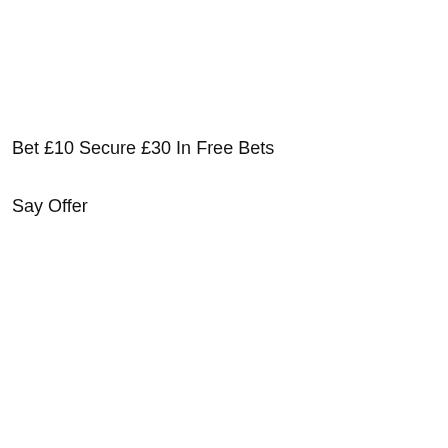Bet £10 Secure £30 In Free Bets
Say Offer